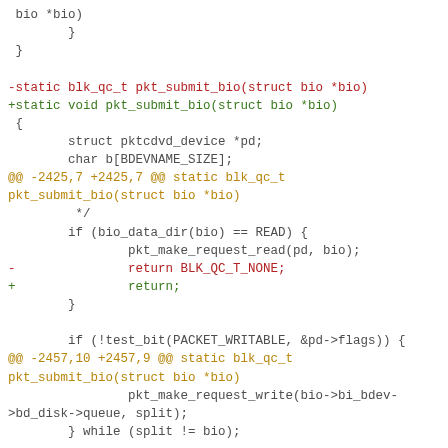Code diff showing changes to pkt_submit_bio function, including removal of blk_qc_t return type and BLK_QC_T_NONE return values, replaced with void return type and plain return statements.